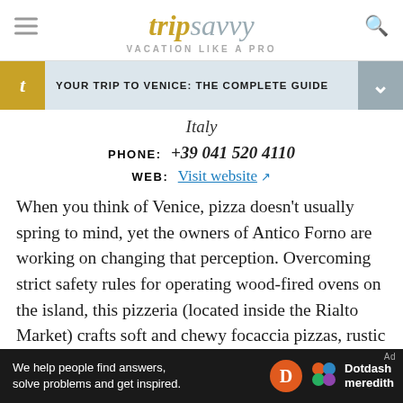tripsavvy VACATION LIKE A PRO
YOUR TRIP TO VENICE: THE COMPLETE GUIDE
Italy
PHONE: +39 041 520 4110
WEB: Visit website
When you think of Venice, pizza doesn't usually spring to mind, yet the owners of Antico Forno are working on changing that perception. Overcoming strict safety rules for operating wood-fired ovens on the island, this pizzeria (located inside the Rialto Market) crafts soft and chewy focaccia pizzas, rustic style pies by the slice
[Figure (logo): Dotdash Meredith advertisement banner at the bottom: black background, text 'We help people find answers, solve problems and get inspired.' with Dotdash Meredith branding]